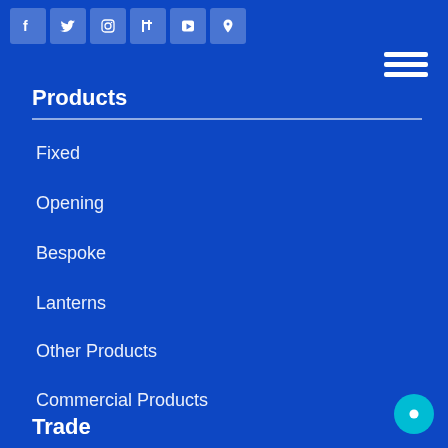Social media icons: Facebook, Twitter, Instagram, LinkedIn, YouTube, Pinterest
[Figure (other): Hamburger menu icon (three horizontal white lines)]
Products
Fixed
Opening
Bespoke
Lanterns
Other Products
Commercial Products
Trade